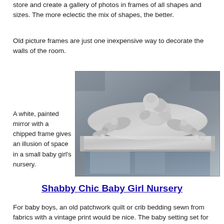store and create a gallery of photos in frames of all shapes and sizes. The more eclectic the mix of shapes, the better.
Old picture frames are just one inexpensive way to decorate the walls of the room.
A white, painted mirror with a chipped frame gives an illusion of space in a small baby girl's nursery.
[Figure (photo): Close-up photo of an ornate silver/white painted decorative mirror frame with cherub and floral motifs against a grey wall, with mirror glass visible at bottom.]
Shabby Chic Baby Girl Nursery
For baby boys, an old patchwork quilt or crib bedding sewn from fabrics with a vintage print would be nice. The baby setting set for the